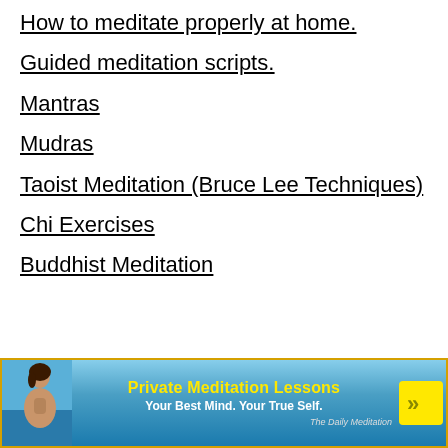How to meditate properly at home.
Guided meditation scripts.
Mantras
Mudras
Taoist Meditation (Bruce Lee Techniques)
Chi Exercises
Buddhist Meditation
[Figure (infographic): Advertisement banner for Private Meditation Lessons. Yellow text 'Private Meditation Lessons', white subtitle 'Your Best Mind. Your True Self.', arrow chevrons in yellow, woman meditating on left, The Daily Meditation branding bottom right. Background is ocean/sky scene.]